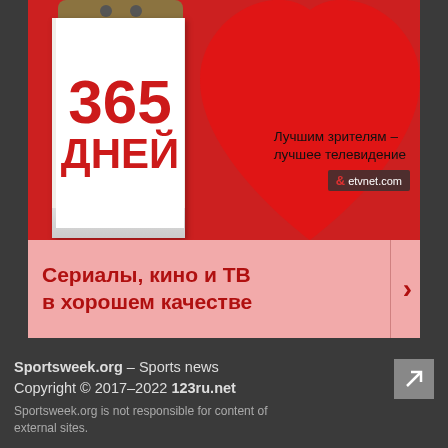[Figure (illustration): Advertisement banner with red background showing a calendar/book with '365 ДНЕЙ' in red text, a large red heart shape, text 'Лучшим зрителям – лучшее телевидение', etvnet.com logo watermark, and a pink strip below with Russian text 'Сериалы, кино и ТВ в хорошем качестве' and a right arrow.]
Sportsweek.org – Sports news
Copyright © 2017–2022 123ru.net
Sportsweek.org is not responsible for content of external sites.